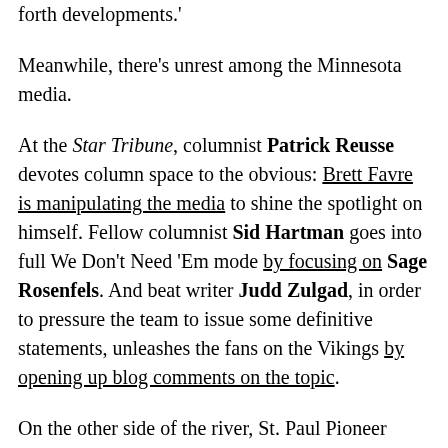forth developments.
Meanwhile, there's unrest among the Minnesota media.
At the Star Tribune, columnist Patrick Reusse devotes column space to the obvious: Brett Favre is manipulating the media to shine the spotlight on himself. Fellow columnist Sid Hartman goes into full We Don't Need 'Em mode by focusing on Sage Rosenfels. And beat writer Judd Zulgad, in order to pressure the team to issue some definitive statements, unleashes the fans on the Vikings by opening up blog comments on the topic.
On the other side of the river, St. Paul Pioneer Press columnist Tom Powers rails against the tight-lipped Vikings, fellow columnist Charley Walters says the Vikes look bad in this Favre saga, and beat writer Rick Alonzo filed the It Ain't Over Yet story with a quote from Vikings Middle Linebacker E.J. Henderson: